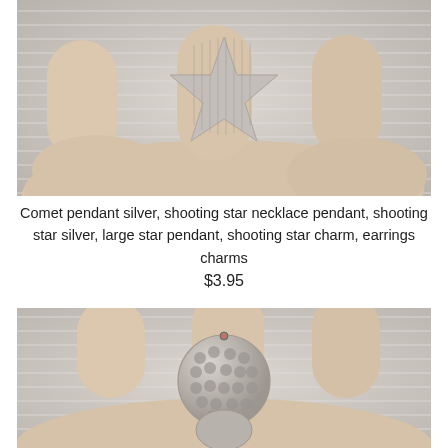[Figure (photo): Close-up photo of a hand holding a silver star-shaped pendant charm with textured line pattern, against a light background]
Comet pendant silver, shooting star necklace pendant, shooting star silver, large star pendant, shooting star charm, earrings charms
$3.95
[Figure (photo): Close-up photo of a hand holding a silver circular hammered pendant charm with dotted texture pattern and a small hole at top]